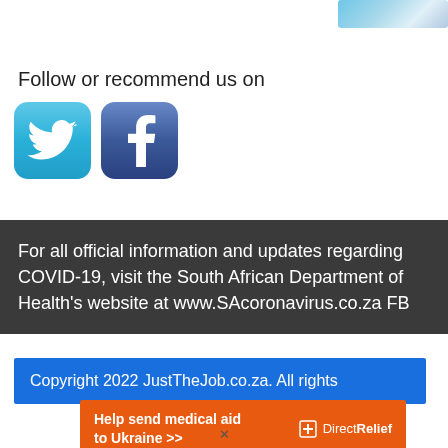[Figure (photo): Partial image visible in top-right corner, appears to be sky/landscape]
Follow or recommend us on
[Figure (illustration): Twitter and Facebook social media icons side by side]
For all official information and updates regarding COVID-19, visit the South African Department of Health's website at www.SAcoronavirus.co.za FB
Copyright 2022 JustTheJob.co.za. All rights
[Figure (infographic): Orange Direct Relief advertisement banner: Help send medical aid to Ukraine >> with DirectRelief logo]